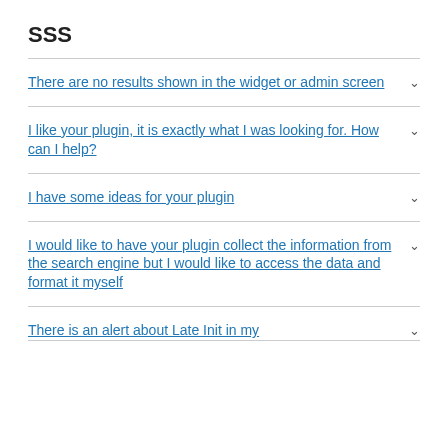SSS
There are no results shown in the widget or admin screen
I like your plugin, it is exactly what I was looking for. How can I help?
I have some ideas for your plugin
I would like to have your plugin collect the information from the search engine but I would like to access the data and format it myself
There is an alert about Late Init in my